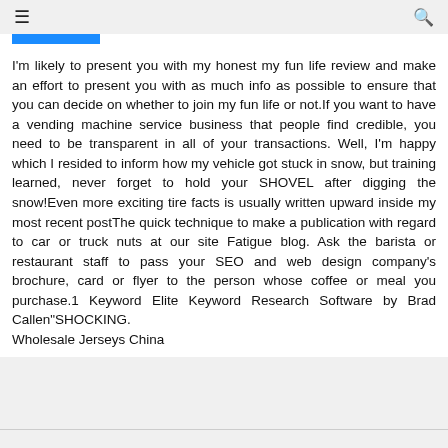≡  🔍
I'm likely to present you with my honest my fun life review and make an effort to present you with as much info as possible to ensure that you can decide on whether to join my fun life or not.If you want to have a vending machine service business that people find credible, you need to be transparent in all of your transactions. Well, I'm happy which I resided to inform how my vehicle got stuck in snow, but training learned, never forget to hold your SHOVEL after digging the snow!Even more exciting tire facts is usually written upward inside my most recent postThe quick technique to make a publication with regard to car or truck nuts at our site Fatigue blog. Ask the barista or restaurant staff to pass your SEO and web design company's brochure, card or flyer to the person whose coffee or meal you purchase.1 Keyword Elite Keyword Research Software by Brad Callen"SHOCKING.
Wholesale Jerseys China